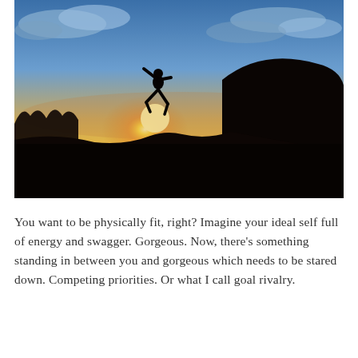[Figure (photo): Silhouette of a person jumping with arms and legs spread against a vivid sunset sky with blue clouds, mountains in the background, and a city/landscape below]
You want to be physically fit, right? Imagine your ideal self full of energy and swagger. Gorgeous. Now, there's something standing in between you and gorgeous which needs to be stared down. Competing priorities. Or what I call goal rivalry.
...